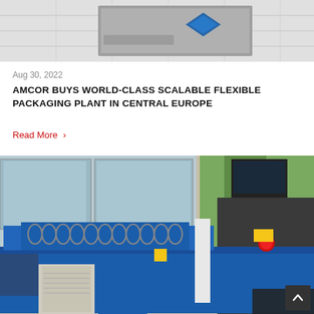[Figure (photo): Partial view of an Amcor building facade with a blue diamond/shield logo on a gray sign against a white tiled wall]
Aug 30, 2022
AMCOR BUYS WORLD-CLASS SCALABLE FLEXIBLE PACKAGING PLANT IN CENTRAL EUROPE
Read More >
[Figure (photo): Industrial blue packaging machinery/extruder in a factory setting with cables, monitor, and control panel visible]